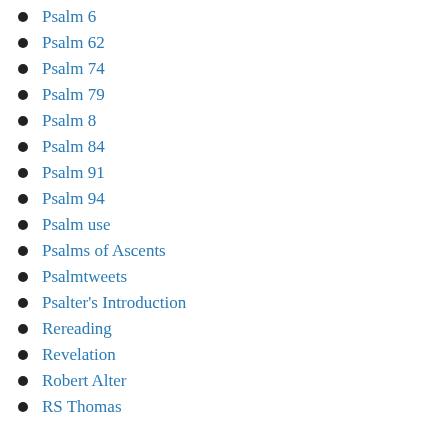Psalm 6
Psalm 62
Psalm 74
Psalm 79
Psalm 8
Psalm 84
Psalm 91
Psalm 94
Psalm use
Psalms of Ascents
Psalmtweets
Psalter's Introduction
Rereading
Revelation
Robert Alter
RS Thomas